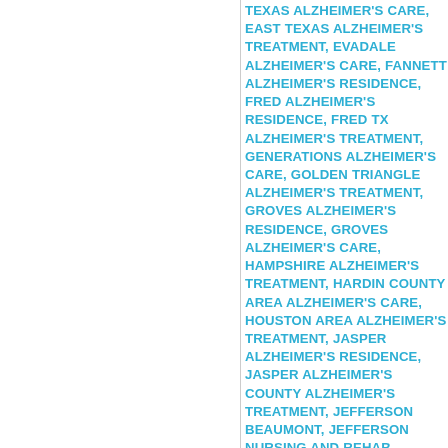TEXAS ALZHEIMER'S CARE, EAST TEXAS ALZHEIMER'S TREATMENT, EVADALE ALZHEIMER'S CARE, FANNETT ALZHEIMER'S RESIDENCE, FRED ALZHEIMER'S RESIDENCE, FRED TX ALZHEIMER'S TREATMENT, GENERATIONS ALZHEIMER'S CARE, GOLDEN TRIANGLE ALZHEIMER'S TREATMENT, GROVES ALZHEIMER'S RESIDENCE, GROVES ALZHEIMER'S CARE, HAMPSHIRE ALZHEIMER'S TREATMENT, HARDIN COUNTY AREA ALZHEIMER'S CARE, HOUSTON AREA ALZHEIMER'S TREATMENT, JASPER ALZHEIMER'S RESIDENCE, JASPER ALZHEIMER'S COUNTY ALZHEIMER'S TREATMENT, JEFFERSON BEAUMONT, JEFFERSON NURSING AND REHAB ALZHEIMER'S RESIDENCE, KOUNTZE ALZHEIMER'S RESIDENCE, KOUNTZE ALZHEIMER'S TREATMENT, LIBERTY ALZHEIMER'S RESIDENCE, LIBERTY LUMBERTON ALZHEIMER'S CARE, LUMBERTON LUMBERTON ALZHEIMER'S TREATMENT, MAURICEVILLE ALZHEIMER'S RESIDENCE, TREATMENT, MID COUNTY ALZHEIMER'S CARE RESIDENCE, MID COUNTY ALZHEIMER'S TREATMENT